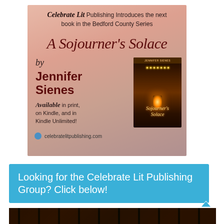[Figure (illustration): Book advertisement for 'A Sojourner's Solace' by Jennifer Sienes published by Celebrate Lit Publishing. Peach/salmon gradient background with book cover image showing a lantern in a field. Text: 'Celebrate Lit Publishing Introduces the next book in the Bedford County Series', 'A Sojourner's Solace', 'by Jennifer Sienes', 'Available in print, on Kindle, and in Kindle Unlimited!', 'celebratelitpublishing.com']
Looking for the Celebrate Lit Publishing Group? Click below!
[Figure (photo): Dark image of what appears to be bookshelves or a library scene visible at bottom of page]